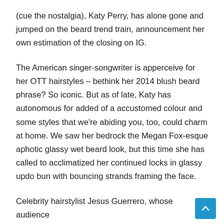(cue the nostalgia), Katy Perry, has alone gone and jumped on the beard trend train, announcement her own estimation of the closing on IG.
The American singer-songwriter is apperceive for her OTT hairstyles – bethink her 2014 blush beard phrase? So iconic. But as of late, Katy has autonomous for added of a accustomed colour and some styles that we're abiding you, too, could charm at home. We saw her bedrock the Megan Fox-esque aphotic glassy wet beard look, but this time she has called to acclimatized her continued locks in glassy updo bun with bouncing strands framing the face.
Celebrity hairstylist Jesus Guerrero, whose audience